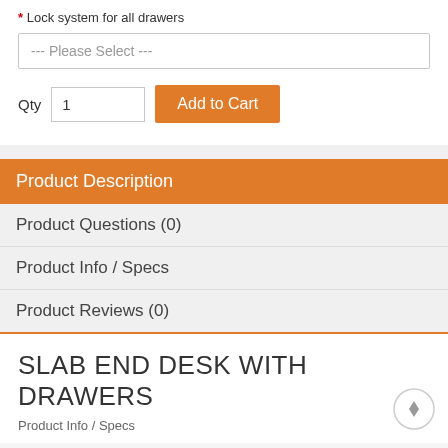* Lock system for all drawers
--- Please Select ---
Qty  1  Add to Cart
Product Description
Product Questions (0)
Product Info / Specs
Product Reviews (0)
SLAB END DESK WITH DRAWERS
Product Info / Specs